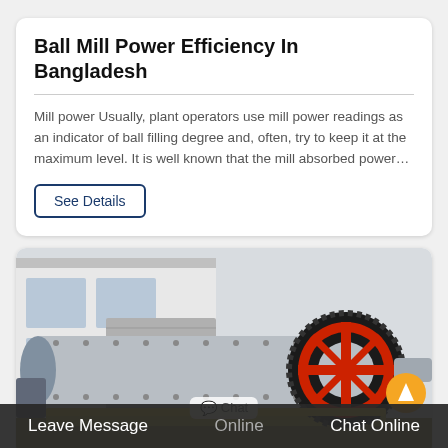Ball Mill Power Efficiency In Bangladesh
Mill power Usually, plant operators use mill power readings as an indicator of ball filling degree and, often, try to keep it at the maximum level. It is well known that the mill absorbed power…
See Details
[Figure (photo): A large industrial ball mill machine photographed outdoors. The cylindrical grinding drum is horizontal with a large red gear wheel on the right side. The machine is gray with bolted plates and is mounted on a yellow base frame. A factory building is visible in the background.]
Leave Message    Online    Chat Online